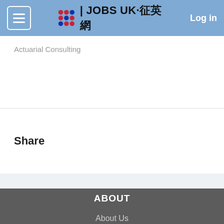JOBS UK·征英網 | Log in
Actuarial Consulting
Share
ABOUT | About Us | Contact Us | Terms of Use